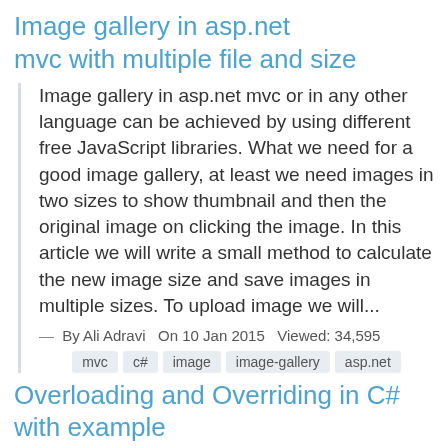Image gallery in asp.net mvc with multiple file and size
Image gallery in asp.net mvc or in any other language can be achieved by using different free JavaScript libraries. What we need for a good image gallery, at least we need images in two sizes to show thumbnail and then the original image on clicking the image. In this article we will write a small method to calculate the new image size and save images in multiple sizes. To upload image we will...
— By Ali Adravi   On 10 Jan 2015  Viewed: 34,595
mvc  c#  image  image-gallery  asp.net
Overloading and Overriding in C# with example
In my early day career in many interviews I